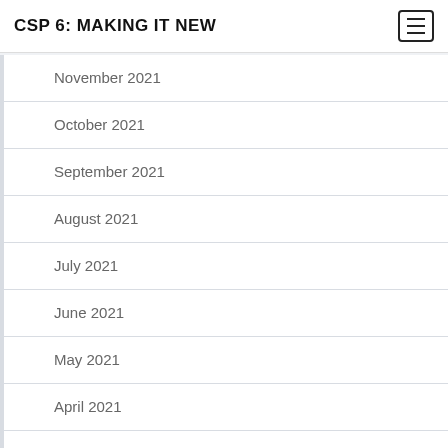CSP 6: MAKING IT NEW
November 2021
October 2021
September 2021
August 2021
July 2021
June 2021
May 2021
April 2021
March 2021
February 2021
January 2021